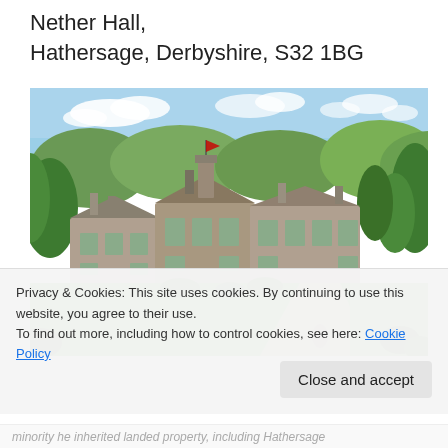Nether Hall,
Hathersage, Derbyshire, S32 1BG
[Figure (photo): Aerial/elevated view of Nether Hall, a large stone manor house in Hathersage, Derbyshire, surrounded by green lawns, trees and countryside]
Privacy & Cookies: This site uses cookies. By continuing to use this website, you agree to their use.
To find out more, including how to control cookies, see here: Cookie Policy
Close and accept
minority he inherited landed property, including Hathersage